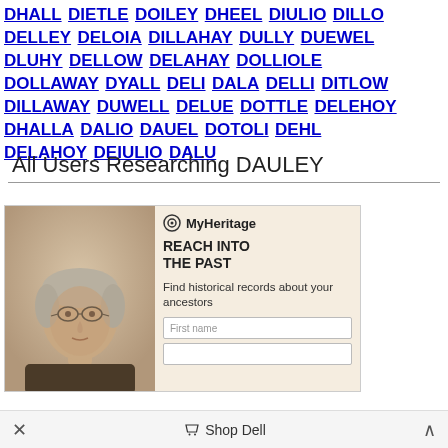DHALL DIETLE DOILEY DHEEL DIULIO DILLO DELLEY DELOIA DILLAHAY DULLY DUEWEL DLUHY DELLOW DELAHAY DOLLIOLE DOLLAWAY DYALL DELI DALA DELLI DITLOW DILLAWAY DUWELL DELUE DOTTLE DELEHOY DHALLA DALIO DAUEL DOTOLI DEHL DELAHOY DEIULIO DALU
All Users Researching DAULEY
[Figure (illustration): MyHeritage advertisement banner showing an old sepia-toned portrait photo of an elderly woman with glasses on the left, and on the right text reading REACH INTO THE PAST, Find historical records about your ancestors, with First name input field]
× Shop Dell ^